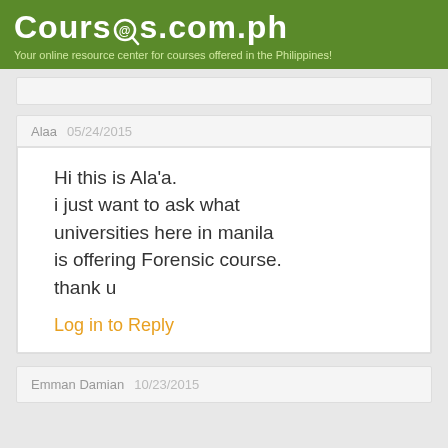Courses.com.ph — Your online resource center for courses offered in the Philippines!
Alaa  05/24/2015
Hi this is Ala'a.
i just want to ask what universities here in manila is offering Forensic course.
thank u
Log in to Reply
Emman Damian  10/23/2015